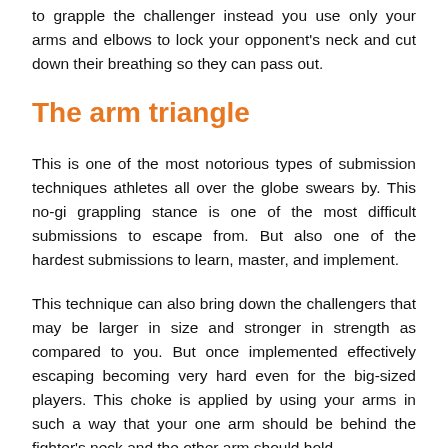to grapple the challenger instead you use only your arms and elbows to lock your opponent's neck and cut down their breathing so they can pass out.
The arm triangle
This is one of the most notorious types of submission techniques athletes all over the globe swears by. This no-gi grappling stance is one of the most difficult submissions to escape from. But also one of the hardest submissions to learn, master, and implement.
This technique can also bring down the challengers that may be larger in size and stronger in strength as compared to you. But once implemented effectively escaping becoming very hard even for the big-sized players. This choke is applied by using your arms in such a way that your one arm should be behind the fighter's neck and the other arm should hold